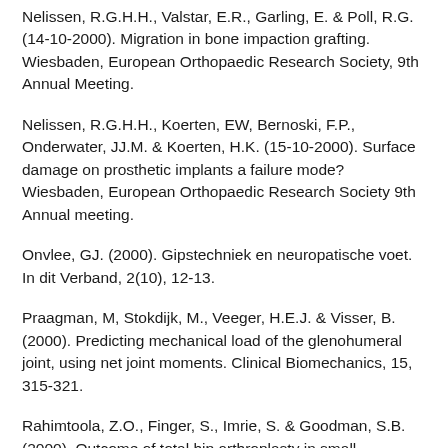Nelissen, R.G.H.H., Valstar, E.R., Garling, E. & Poll, R.G. (14-10-2000). Migration in bone impaction grafting. Wiesbaden, European Orthopaedic Research Society, 9th Annual Meeting.
Nelissen, R.G.H.H., Koerten, EW, Bernoski, F.P., Onderwater, JJ.M. & Koerten, H.K. (15-10-2000). Surface damage on prosthetic implants a failure mode? Wiesbaden, European Orthopaedic Research Society 9th Annual meeting.
Onvlee, GJ. (2000). Gipstechniek en neuropatische voet. In dit Verband, 2(10), 12-13.
Praagman, M, Stokdijk, M., Veeger, H.E.J. & Visser, B. (2000). Predicting mechanical load of the glenohumeral joint, using net joint moments. Clinical Biomechanics, 15, 315-321.
Rahimtoola, Z.O., Finger, S., Imrie, S. & Goodman, S.B. (2000). Outcome of total hip arthroplasty in small-proportioned patientd. Journal of Arthroplasty, 15(1), 27-34.